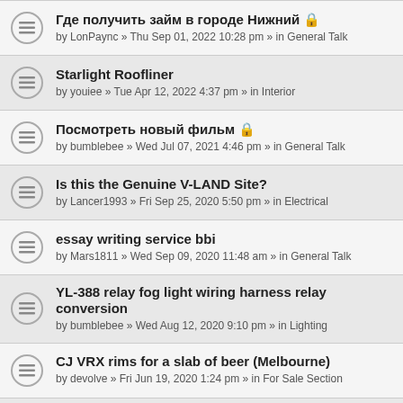Где получить займ в городе Нижний 🔒
by LonPaync » Thu Sep 01, 2022 10:28 pm » in General Talk
Starlight Roofliner
by youiee » Tue Apr 12, 2022 4:37 pm » in Interior
Посмотреть новый фильм 🔒
by bumblebee » Wed Jul 07, 2021 4:46 pm » in General Talk
Is this the Genuine V-LAND Site?
by Lancer1993 » Fri Sep 25, 2020 5:50 pm » in Electrical
essay writing service bbi
by Mars1811 » Wed Sep 09, 2020 11:48 am » in General Talk
YL-388 relay fog light wiring harness relay conversion
by bumblebee » Wed Aug 12, 2020 9:10 pm » in Lighting
CJ VRX rims for a slab of beer (Melbourne)
by devolve » Fri Jun 19, 2020 1:24 pm » in For Sale Section
study proves what most of us have known for years
by bumblebee » Wed Feb 05, 2020 9:49 am » in General Talk